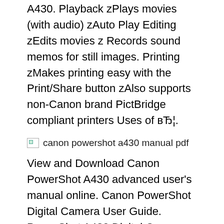A430. Playback zPlays movies (with audio) zAuto Play Editing zEdits movies z Records sound memos for still images. Printing zMakes printing easy with the Print/Share button zAlso supports non-Canon brand PictBridge compliant printers Uses of вЂ¦.
[Figure (other): Broken image placeholder labeled 'canon powershot a430 manual pdf']
View and Download Canon PowerShot A430 advanced user's manual online. Canon PowerShot Digital Camera User Guide. PowerShot A430 Digital Camera pdf manual download. Also for: Powershot a420. Notice d'utilisation du CANON PowerShot A430. Recherche mode d'emploi du Appareil photo